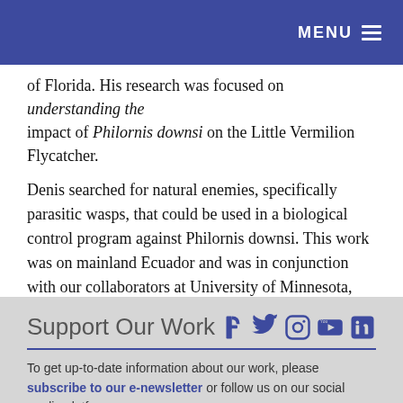MENU
of Florida. His research was focused on understanding the impact of Philornis downsi on the Little Vermilion Flycatcher.
Denis searched for natural enemies, specifically parasitic wasps, that could be used in a biological control program against Philornis downsi. This work was on mainland Ecuador and was in conjunction with our collaborators at University of Minnesota, ESPOL, and the National Biodiversity Institute.
Support Our Work
To get up-to-date information about our work, please subscribe to our e-newsletter or follow us on our social media platforms.
Every single donation we receive, no matter how small,